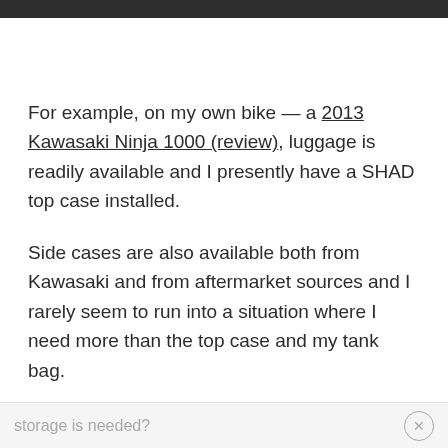For example, on my own bike — a 2013 Kawasaki Ninja 1000 (review), luggage is readily available and I presently have a SHAD top case installed.
Side cases are also available both from Kawasaki and from aftermarket sources and I rarely seem to run into a situation where I need more than the top case and my tank bag.
But what about those rare situations where more
storage is needed?